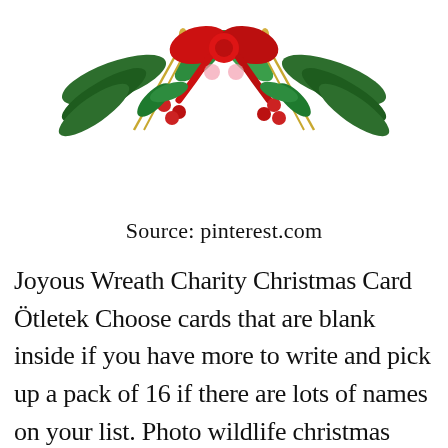[Figure (illustration): Christmas floral decoration with red bow, pine branches, holly berries, and gold wheat at the top of the page]
Source: pinterest.com
Joyous Wreath Charity Christmas Card Ötletek Choose cards that are blank inside if you have more to write and pick up a pack of 16 if there are lots of names on your list. Photo wildlife christmas charity cards , pack of 10, 1 design. Ecard is a greener, more environment friendly alternative to paper based christmas card⊗Your shopping makes